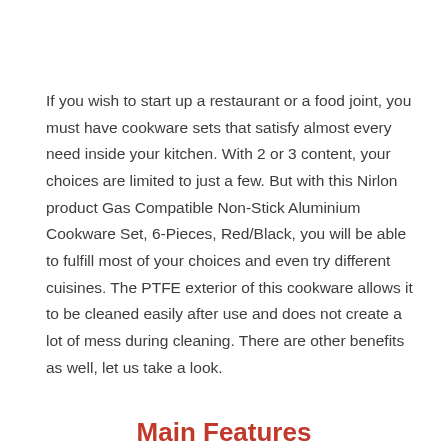If you wish to start up a restaurant or a food joint, you must have cookware sets that satisfy almost every need inside your kitchen. With 2 or 3 content, your choices are limited to just a few. But with this Nirlon product Gas Compatible Non-Stick Aluminium Cookware Set, 6-Pieces, Red/Black, you will be able to fulfill most of your choices and even try different cuisines. The PTFE exterior of this cookware allows it to be cleaned easily after use and does not create a lot of mess during cleaning. There are other benefits as well, let us take a look.
Main Features